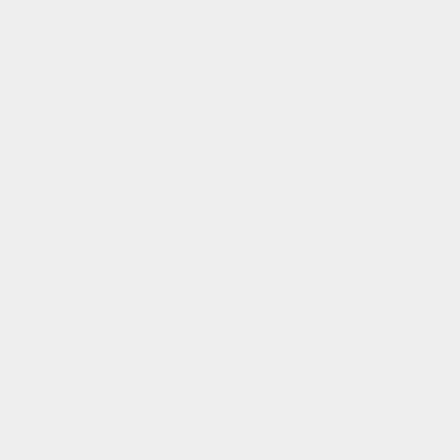And the much derided Beolink 1000 on on…
[Figure (photo): A warm-toned photo of a designer table lamp with a ribbed frosted globe shade on a chrome stem and round brushed metal base, sitting on a wooden bedside table. A remote control is visible at the bottom. Background is an amber/orange warm light.]